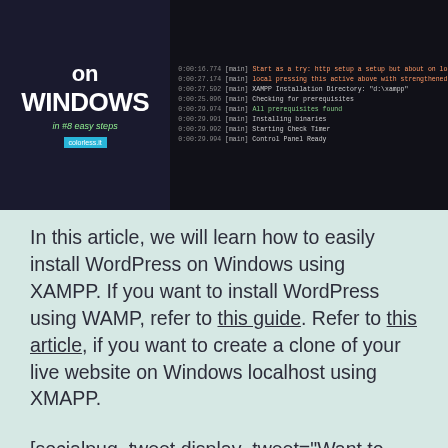[Figure (screenshot): Hero image showing 'on WINDOWS in #8 easy steps' text on dark background on left, and a terminal/log output on right showing XAMPP installation steps including 'XAMPP Installation Directory', 'Checking for prerequisites', 'All prerequisites found', 'Installing binaries', 'Starting Check Timer', 'Control Panel Ready'.]
In this article, we will learn how to easily install WordPress on Windows using XAMPP. If you want to install WordPress using WAMP, refer to this guide. Refer to this article, if you want to create a clone of your live website on Windows localhost using XMAPP.
[socialpug_tweet display_tweet="Want to install WordPress on Windows Localhost? This article walks you through the process of installing WordPress on localhost using the...